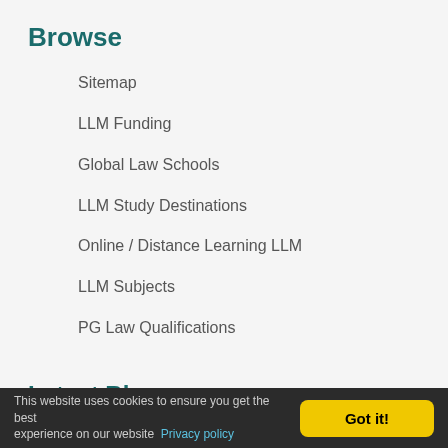Browse
Sitemap
LLM Funding
Global Law Schools
LLM Study Destinations
Online / Distance Learning LLM
LLM Subjects
PG Law Qualifications
Latest Blogs
Is an LLM recognised internationally?
This website uses cookies to ensure you get the best experience on our website   Privacy policy   Got it!